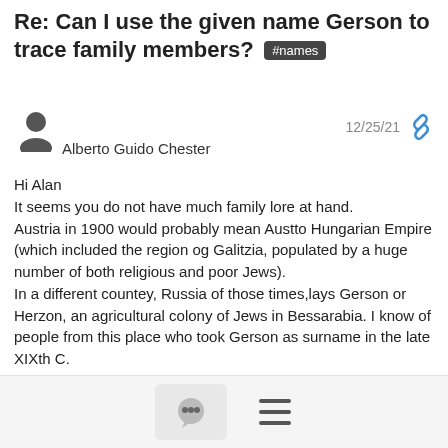Re: Can I use the given name Gerson to trace family members? #names
Alberto Guido Chester
12/25/21
Hi Alan
It seems you do not have much family lore at hand.
Austria in 1900 would probably mean Austto Hungarian Empire (which included the region og Galitzia, populated by a huge number of both religious and poor Jews).
In a different countey, Russia of those times,lays Gerson or Herzon, an agricultural colony of Jews in Bessarabia. I know of people from this place who took Gerson as surname in the late XIXth C.
My two cents of advise then: broaden your search. Maybe customs or the way of cooking some dish can guide you to the area of origin,and after that look for documents.
Hope this helps